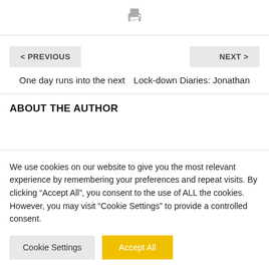[Figure (other): Print icon (printer symbol) in gray]
< PREVIOUS
NEXT >
One day runs into the next
Lock-down Diaries: Jonathan
ABOUT THE AUTHOR
We use cookies on our website to give you the most relevant experience by remembering your preferences and repeat visits. By clicking “Accept All”, you consent to the use of ALL the cookies. However, you may visit “Cookie Settings” to provide a controlled consent.
Cookie Settings
Accept All